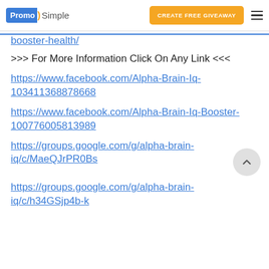PromoSimple | CREATE FREE GIVEAWAY
booster-health/
>>> For More Information Click On Any Link <<<
https://www.facebook.com/Alpha-Brain-Iq-103411368878668
https://www.facebook.com/Alpha-Brain-Iq-Booster-100776005813989
https://groups.google.com/g/alpha-brain-iq/c/MaeQJrPR0Bs
https://groups.google.com/g/alpha-brain-iq/c/h34GSjp4b-k